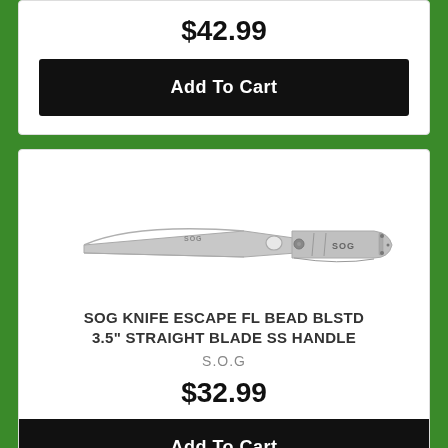$42.99
Add To Cart
[Figure (photo): SOG folding knife - Escape FL with bead blasted finish, 3.5 inch straight blade and stainless steel handle, shown open at an angle]
SOG KNIFE ESCAPE FL BEAD BLSTD 3.5" STRAIGHT BLADE SS HANDLE
S.O.G
$32.99
Add To Cart